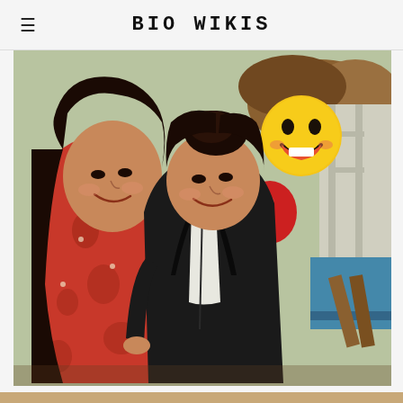BIO WIKIS
[Figure (photo): Two women of South Asian appearance posing together and smiling. The woman on the left wears a red patterned outfit with long dark hair. The woman on the right wears a black leather jacket over a white shirt with hair in a bun. In the background there is an outdoor garden setting with a laughing emoji balloon and red balloon decorations.]